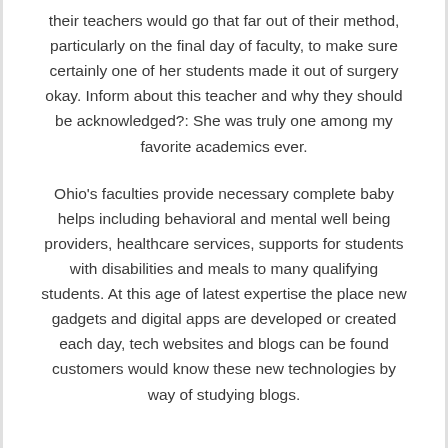their teachers would go that far out of their method, particularly on the final day of faculty, to make sure certainly one of her students made it out of surgery okay. Inform about this teacher and why they should be acknowledged?: She was truly one among my favorite academics ever.
Ohio's faculties provide necessary complete baby helps including behavioral and mental well being providers, healthcare services, supports for students with disabilities and meals to many qualifying students. At this age of latest expertise the place new gadgets and digital apps are developed or created each day, tech websites and blogs can be found customers would know these new technologies by way of studying blogs.